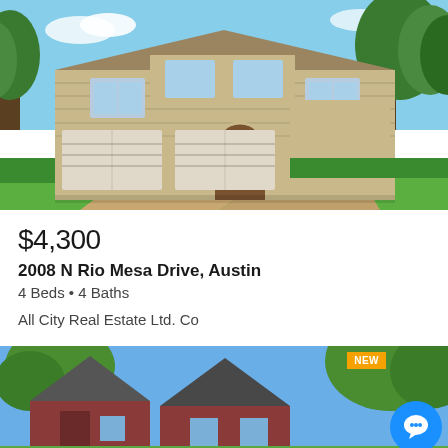[Figure (photo): Exterior photo of a two-story stone house with three-car garage, arched entry door, landscaped lawn, and trees]
$4,300
2008 N Rio Mesa Drive, Austin
4 Beds • 4 Baths
All City Real Estate Ltd. Co
[Figure (photo): Exterior photo of a brick house with peaked gable roofline and trees, partially shown. NEW badge visible in corner.]